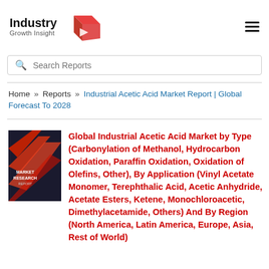[Figure (logo): Industry Growth Insight logo with 3D box icon]
Search Reports
Home » Reports » Industrial Acetic Acid Market Report | Global Forecast To 2028
[Figure (photo): Market Research Report book cover thumbnail with red and dark cover]
Global Industrial Acetic Acid Market by Type (Carbonylation of Methanol, Hydrocarbon Oxidation, Paraffin Oxidation, Oxidation of Olefins, Other), By Application (Vinyl Acetate Monomer, Terephthalic Acid, Acetic Anhydride, Acetate Esters, Ketene, Monochloroacetic, Dimethylacetamide, Others) And By Region (North America, Latin America, Europe, Asia, Rest of World)